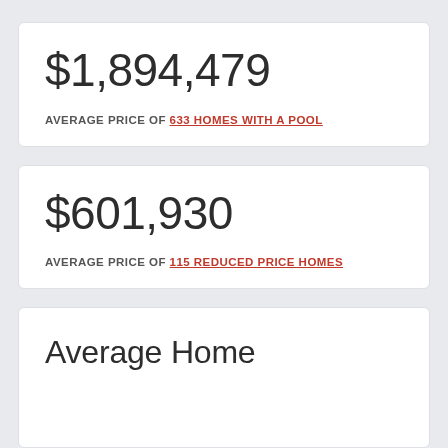$1,894,479
AVERAGE PRICE OF 633 HOMES WITH A POOL
$601,930
AVERAGE PRICE OF 115 REDUCED PRICE HOMES
Average Home